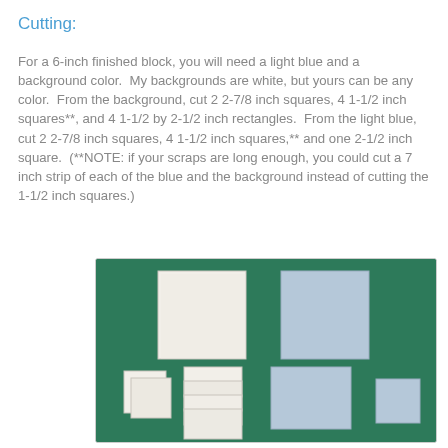Cutting:
For a 6-inch finished block, you will need a light blue and a background color.  My backgrounds are white, but yours can be any color.  From the background, cut 2 2-7/8 inch squares, 4 1-1/2 inch squares**, and 4 1-1/2 by 2-1/2 inch rectangles.  From the light blue, cut 2 2-7/8 inch squares, 4 1-1/2 inch squares,** and one 2-1/2 inch square.  (**NOTE: if your scraps are long enough, you could cut a 7 inch strip of each of the blue and the background instead of cutting the 1-1/2 inch squares.)
[Figure (photo): Photo of fabric pieces cut for the quilt block laid out on a green cutting mat: large white square, large light blue square, small white squares, white rectangles, light blue rectangle, and small light blue square arranged on a green surface.]